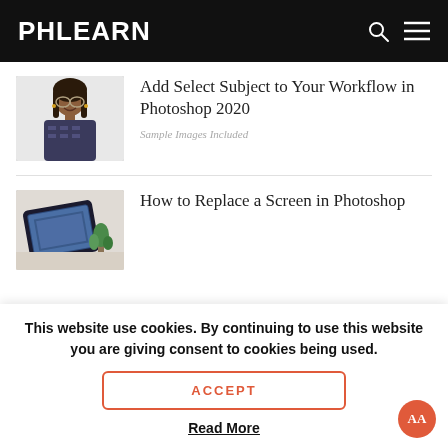PHLEARN
[Figure (photo): Portrait photo of a smiling woman with glasses and braids, wearing a patterned top, light background]
Add Select Subject to Your Workflow in Photoshop 2020
Sample Images Included
[Figure (photo): Flatlay photo of a tablet showing an image, with a small plant, on a white desk surface]
How to Replace a Screen in Photoshop
This website use cookies. By continuing to use this website you are giving consent to cookies being used.
ACCEPT
Read More